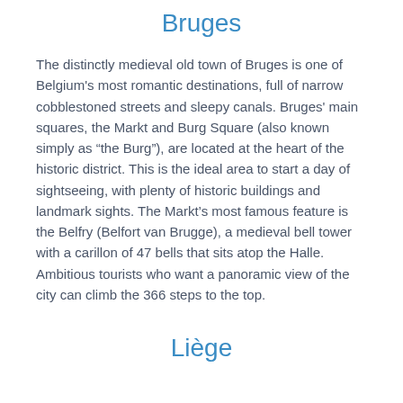Bruges
The distinctly medieval old town of Bruges is one of Belgium's most romantic destinations, full of narrow cobblestoned streets and sleepy canals. Bruges' main squares, the Markt and Burg Square (also known simply as “the Burg”), are located at the heart of the historic district. This is the ideal area to start a day of sightseeing, with plenty of historic buildings and landmark sights. The Markt's most famous feature is the Belfry (Belfort van Brugge), a medieval bell tower with a carillon of 47 bells that sits atop the Halle. Ambitious tourists who want a panoramic view of the city can climb the 366 steps to the top.
Liège